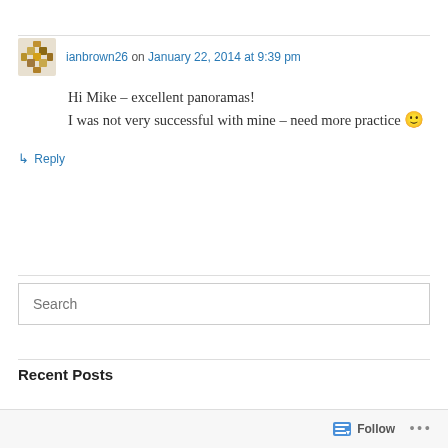ianbrown26 on January 22, 2014 at 9:39 pm
Hi Mike – excellent panoramas! I was not very successful with mine – need more practice 🙂
↳ Reply
Search
Recent Posts